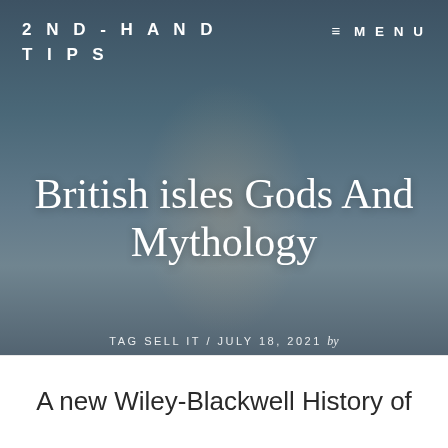2ND-HAND TIPS
≡ MENU
[Figure (photo): Woman with sunglasses and arms raised against ocean/sky background, overlaid with dark tint]
British isles Gods And Mythology
TAG SELL IT / JULY 18, 2021 by UPSCALEDOWNHOME
A new Wiley-Blackwell History of